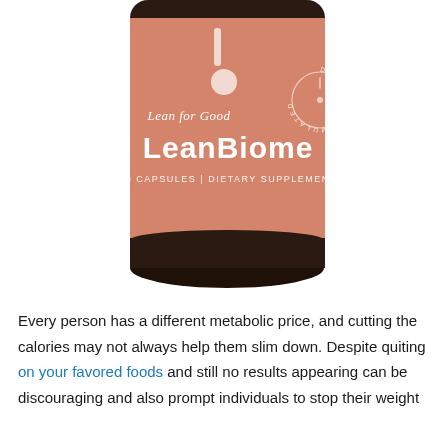[Figure (photo): A product photo of a LeanBiome dietary supplement bottle by Lean for Good. The bottle is amber/dark glass with a salmon-pink label showing 'Lean for Good' in smaller text, 'LeanBiome' in large bold white text, '30 CAPSULES | DIETARY SUPPLEMENT' below, and a 'DOCTOR FORMULATED' circular badge on the right side. The label background is a warm terracotta/salmon color.]
Every person has a different metabolic price, and cutting the calories may not always help them slim down. Despite quiting on your favored foods and still no results appearing can be discouraging and also prompt individuals to stop their weight